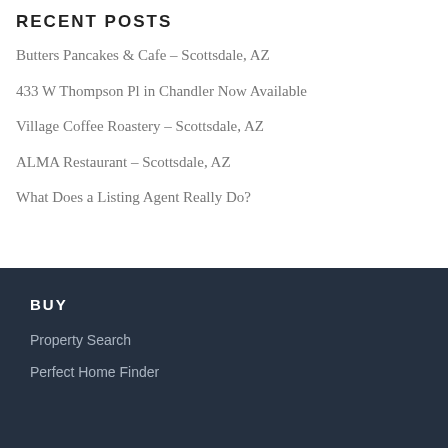RECENT POSTS
Butters Pancakes & Cafe – Scottsdale, AZ
433 W Thompson Pl in Chandler Now Available
Village Coffee Roastery – Scottsdale, AZ
ALMA Restaurant – Scottsdale, AZ
What Does a Listing Agent Really Do?
BUY
Property Search
Perfect Home Finder